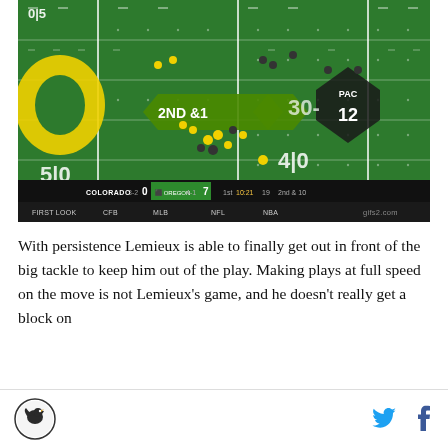[Figure (screenshot): Football broadcast screenshot showing Oregon vs Colorado game. Score shows Colorado 0, Oregon 7, 1st quarter 10:21, 2nd & 10. Field shows yard markers 50, 30, and 2ND & 1 down marker graphic. Oregon O logo and PAC-12 logo on field. Navigation bar at bottom shows FIRST LOOK, CFB, MLB, NFL, NBA, gifs2.com.]
With persistence Lemieux is able to finally get out in front of the big tackle to keep him out of the play. Making plays at full speed on the move is not Lemieux's game, and he doesn't really get a block on
SB Nation logo | Twitter icon | Facebook icon